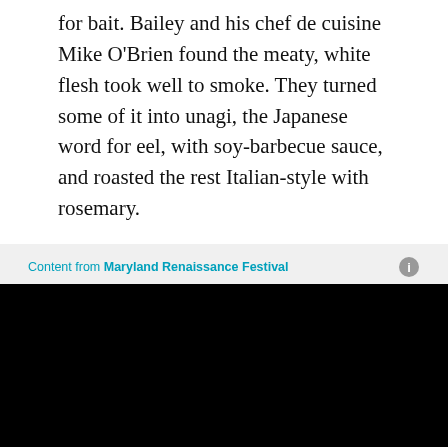for bait. Bailey and his chef de cuisine Mike O'Brien found the meaty, white flesh took well to smoke. They turned some of it into unagi, the Japanese word for eel, with soy-barbecue sauce, and roasted the rest Italian-style with rosemary.
Content from Maryland Renaissance Festival
[Figure (other): Black video player embed block]
Travel back in time with a 16th-century newspaper
[Figure (other): Giant grocery store banner advertisement: $5 OFF YOUR ONLINE ORDER OF $50+, SHOP NOW]